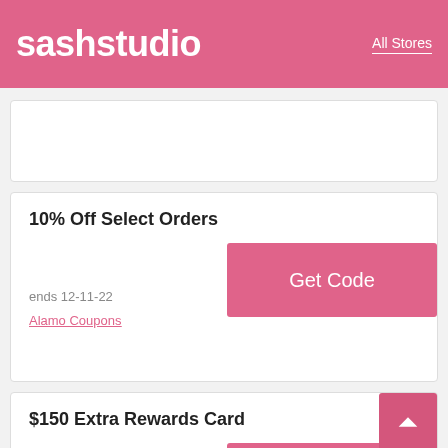sashstudio   All Stores
10% Off Select Orders
ends 12-11-22
Alamo Coupons
$150 Extra Rewards Card
ends 18-11-22
AT&T U-verse Coupons